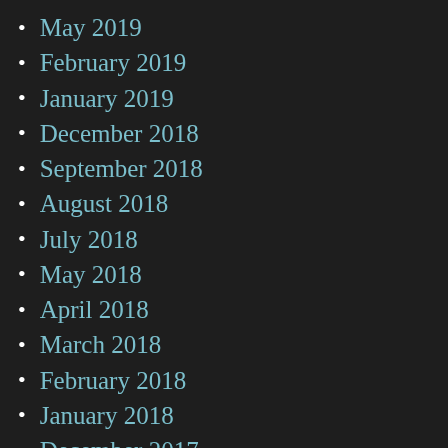May 2019
February 2019
January 2019
December 2018
September 2018
August 2018
July 2018
May 2018
April 2018
March 2018
February 2018
January 2018
December 2017
August 2017
May 2017
March 2017